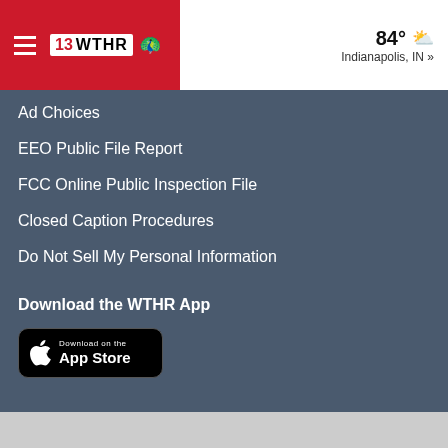13 WTHR | 84° Indianapolis, IN »
Ad Choices
EEO Public File Report
FCC Online Public Inspection File
Closed Caption Procedures
Do Not Sell My Personal Information
Download the WTHR App
[Figure (screenshot): Download on the App Store button (black rounded rectangle with Apple logo)]
© 2022 WTHR. All Rights Reserved.